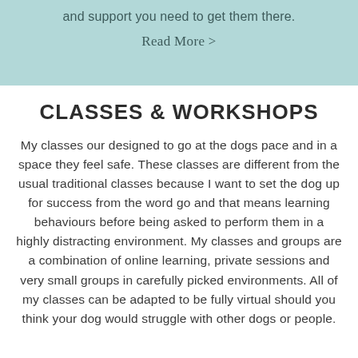and support you need to get them there.
Read More >
CLASSES & WORKSHOPS
My classes our designed to go at the dogs pace and in a space they feel safe. These classes are different from the usual traditional classes because I want to set the dog up for success from the word go and that means learning behaviours before being asked to perform them in a highly distracting environment. My classes and groups are a combination of online learning, private sessions and very small groups in carefully picked environments. All of my classes can be adapted to be fully virtual should you think your dog would struggle with other dogs or people.